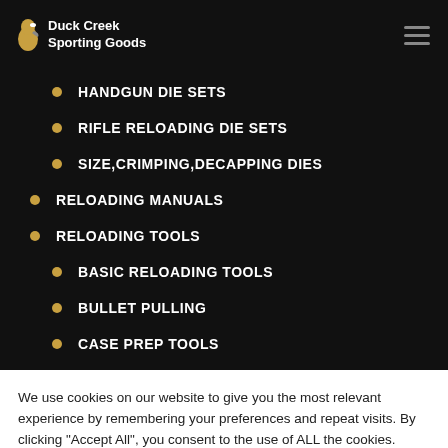Duck Creek Sporting Goods
HANDGUN DIE SETS
RIFLE RELOADING DIE SETS
SIZE,CRIMPING,DECAPPING DIES
RELOADING MANUALS
RELOADING TOOLS
BASIC RELOADING TOOLS
BULLET PULLING
CASE PREP TOOLS
We use cookies on our website to give you the most relevant experience by remembering your preferences and repeat visits. By clicking “Accept All”, you consent to the use of ALL the cookies. However, you may visit “Cookie Settings” to provide a controlled consent.